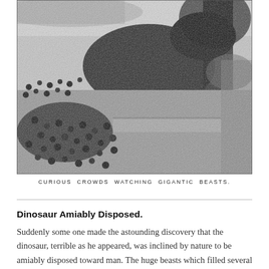[Figure (photo): Black and white photograph taken from above showing curious crowds of people watching gigantic dinosaur beasts in an outdoor setting with trees visible in the background.]
CURIOUS CROWDS WATCHING GIGANTIC BEASTS.
Dinosaur Amiably Disposed.
Suddenly some one made the astounding discovery that the dinosaur, terrible as he appeared, was inclined by nature to be amiably disposed toward man. The huge beasts which filled several downtown streets with their bulks regarded men and women